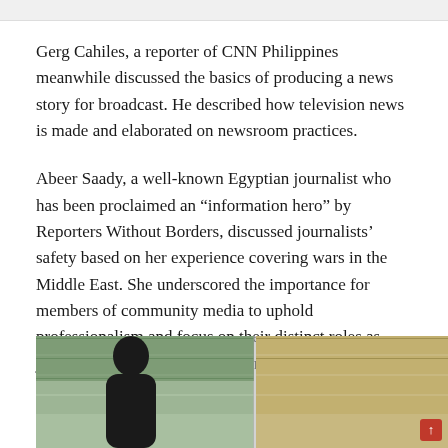Gerg Cahiles, a reporter of CNN Philippines meanwhile discussed the basics of producing a news story for broadcast. He described how television news is made and elaborated on newsroom practices.
Abeer Saady, a well-known Egyptian journalist who has been proclaimed an “information hero” by Reporters Without Borders, discussed journalists’ safety based on her experience covering wars in the Middle East. She underscored the importance for members of community media to uphold professionalism and focus on their distinct roles as journalists when covering human rights issues.
[Figure (photo): A photograph showing a person in the foreground with a brick wall background, partially cropped at the bottom of the page.]